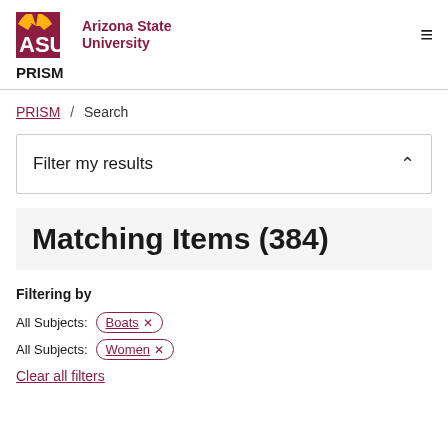[Figure (logo): Arizona State University ASU logo with maroon text and sunburst icon]
PRISM
PRISM / Search
Filter my results
Matching Items (384)
Filtering by
All Subjects: Boats ×
All Subjects: Women ×
Clear all filters